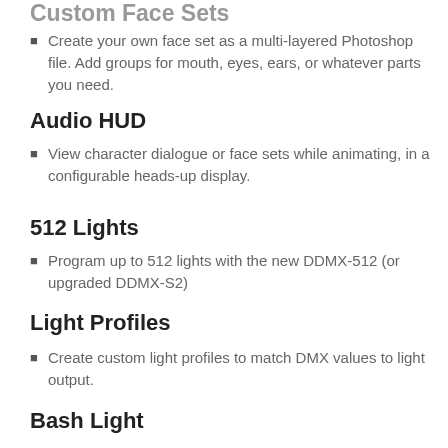Custom Face Sets
Create your own face set as a multi-layered Photoshop file. Add groups for mouth, eyes, ears, or whatever parts you need.
Audio HUD
View character dialogue or face sets while animating, in a configurable heads-up display.
512 Lights
Program up to 512 lights with the new DDMX-512 (or upgraded DDMX-S2)
Light Profiles
Create custom light profiles to match DMX values to light output.
Bash Light